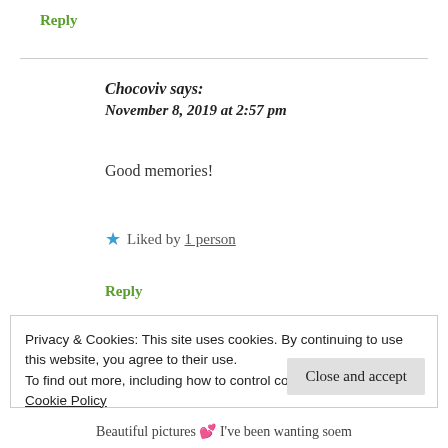Reply
Chocoviv says:
November 8, 2019 at 2:57 pm
Good memories!
★ Liked by 1 person
Reply
Privacy & Cookies: This site uses cookies. By continuing to use this website, you agree to their use.
To find out more, including how to control cookies, see here: Cookie Policy
Close and accept
Beautiful pictures 💕 I've been wanting soem